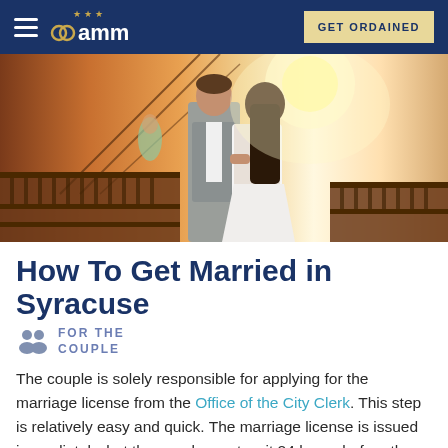AMM - GET ORDAINED
[Figure (photo): A couple kissing on a bridge, the man in a gray suit and the woman in a white dress, with warm sunlight in the background]
How To Get Married in Syracuse
FOR THE COUPLE
The couple is solely responsible for applying for the marriage license from the Office of the City Clerk. This step is relatively easy and quick. The marriage license is issued immediately, but the couple must wait 24 hours before they are able to wed. The officiant and the couple must contact...